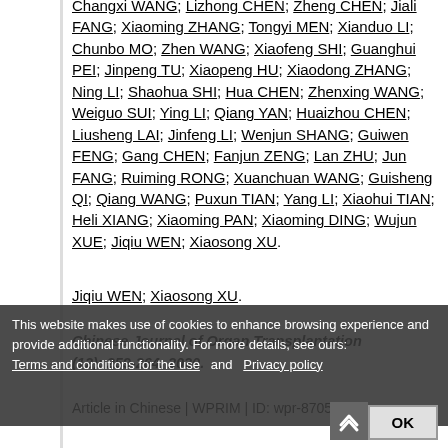Changxi WANG; Lizhong CHEN; Zheng CHEN; Jiali FANG; Xiaoming ZHANG; Tongyi MEN; Xianduo LI; Chunbo MO; Zhen WANG; Xiaofeng SHI; Guanghui PEI; Jinpeng TU; Xiaopeng HU; Xiaodong ZHANG; Ning LI; Shaohua SHI; Hua CHEN; Zhenxing WANG; Weiguo SUI; Ying LI; Qiang YAN; Huaizhou CHEN; Liusheng LAI; Jinfeng LI; Wenjun SHANG; Guiwen FENG; Gang CHEN; Fanjun ZENG; Lan ZHU; Jun FANG; Ruiming RONG; Xuanchuan WANG; Guisheng QI; Qiang WANG; Puxun TIAN; Yang LI; Xiaohui TIAN; Heli XIANG; Xiaoming PAN; Xiaoming DING; Wujun XUE; Jiqiu WEN; Xiaosong XU.
Chinese Journal of Organ Transplantation (12): 259-264. 2020.
Article in Chinese | WPRIM | ID: wpr-870587
This website makes use of cookies to enhance browsing experience and provide additional functionality. For more details, see ours: Terms and conditions for the use and Privacy policy